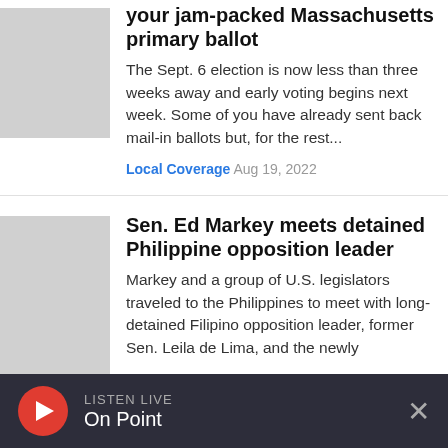Here's a breakdown of all the races on your jam-packed Massachusetts primary ballot
The Sept. 6 election is now less than three weeks away and early voting begins next week. Some of you have already sent back mail-in ballots but, for the rest...
Local Coverage  Aug 19, 2022
Sen. Ed Markey meets detained Philippine opposition leader
Markey and a group of U.S. legislators traveled to the Philippines to meet with long-detained Filipino opposition leader, former Sen. Leila de Lima, and the newly
LISTEN LIVE
On Point